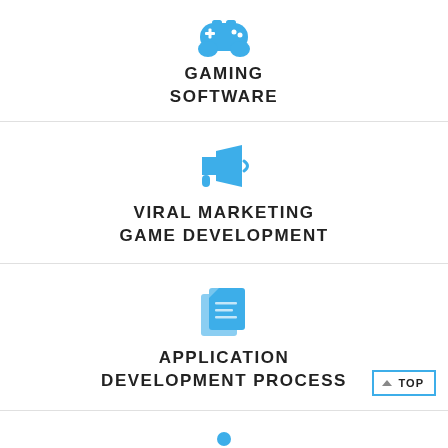[Figure (illustration): Blue game controller icon]
GAMING SOFTWARE
[Figure (illustration): Blue megaphone/bullhorn icon]
VIRAL MARKETING GAME DEVELOPMENT
[Figure (illustration): Blue stacked documents/pages icon]
APPLICATION DEVELOPMENT PROCESS
[Figure (illustration): Blue person with laptop/computer icon]
TECHNICAL ANA...
Chat with us now!